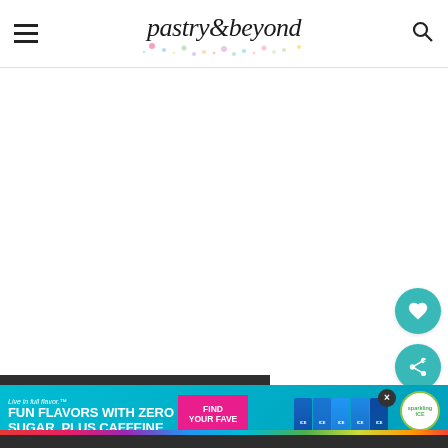pastry & beyond
[Figure (screenshot): Large empty white content area in the center of the page, below the header navigation]
[Figure (illustration): Teal circular button with white heart icon (save/favorite button)]
[Figure (illustration): Teal circular button with white share icon]
[Figure (photo): Circular thumbnail of caramel and chocolate dessert for 'What's Next' sidebar]
WHAT'S NEXT → Caramel and Chocolate...
[Figure (screenshot): Advertisement banner: Sparkling ICE 'Live in full flavor. FUN FLAVORS WITH ZERO SUGAR, PLUS CAFFEINE.' with FIND YOUR FAVE button and colorful cans]